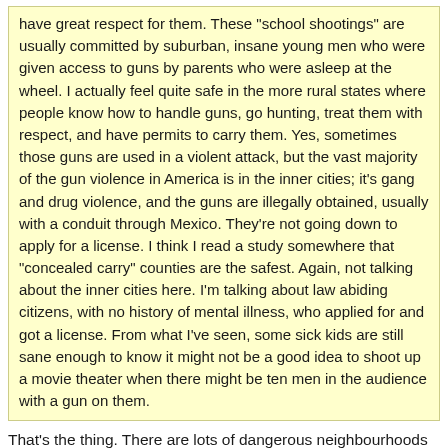have great respect for them. These "school shootings" are usually committed by suburban, insane young men who were given access to guns by parents who were asleep at the wheel. I actually feel quite safe in the more rural states where people know how to handle guns, go hunting, treat them with respect, and have permits to carry them. Yes, sometimes those guns are used in a violent attack, but the vast majority of the gun violence in America is in the inner cities; it's gang and drug violence, and the guns are illegally obtained, usually with a conduit through Mexico. They're not going down to apply for a license. I think I read a study somewhere that "concealed carry" counties are the safest. Again, not talking about the inner cities here. I'm talking about law abiding citizens, with no history of mental illness, who applied for and got a license. From what I've seen, some sick kids are still sane enough to know it might not be a good idea to shoot up a movie theater when there might be ten men in the audience with a gun on them.
That's the thing. There are lots of dangerous neighbourhoods and that's why people feel they need guns. So you do not deny that insecurity is more of a problem in the US in general (not in your New York neighbourhood) than in Western or Northern Europe?